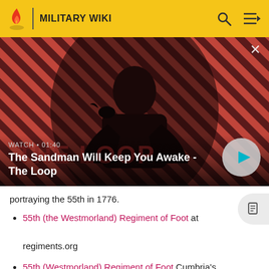MILITARY WIKI
[Figure (screenshot): Video thumbnail showing a dark figure with a crow on their shoulder against a red and black diagonal striped background. Text overlay reads 'WATCH • 01:40' and 'The Sandman Will Keep You Awake - The Loop' with a play button.]
portraying the 55th in 1776.
55th (the Westmorland) Regiment of Foot at regiments.org
55th (Westmorland) Regiment of Foot Cumbria's Museum of Military Life